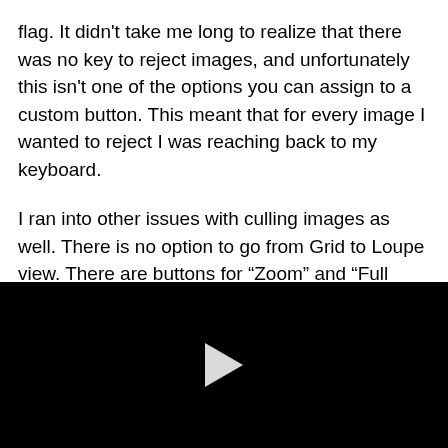flag. It didn't take me long to realize that there was no key to reject images, and unfortunately this isn't one of the options you can assign to a custom button. This meant that for every image I wanted to reject I was reaching back to my keyboard.

I ran into other issues with culling images as well. There is no option to go from Grid to Loupe view. There are buttons for “Zoom” and “Full Screen”, but these go to 100% magnification and full screen, respectively. I also
[Figure (screenshot): Black video player area with a white play button triangle in the center]